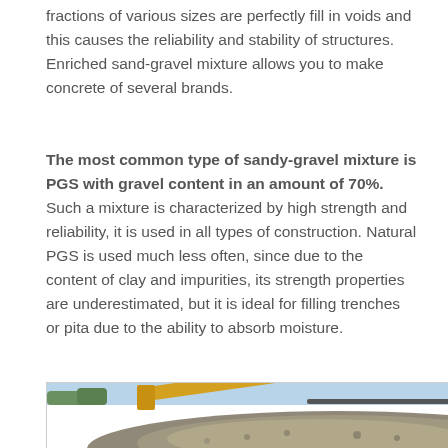fractions of various sizes are perfectly fill in voids and this causes the reliability and stability of structures. Enriched sand-gravel mixture allows you to make concrete of several brands.
The most common type of sandy-gravel mixture is PGS with gravel content in an amount of 70%. Such a mixture is characterized by high strength and reliability, it is used in all types of construction. Natural PGS is used much less often, since due to the content of clay and impurities, its strength properties are underestimated, but it is ideal for filling trenches or pita due to the ability to absorb moisture.
[Figure (photo): Construction site photo showing a yellow crane/excavator arm over a large pile of gravel/sand mixture with a building wall in the background]